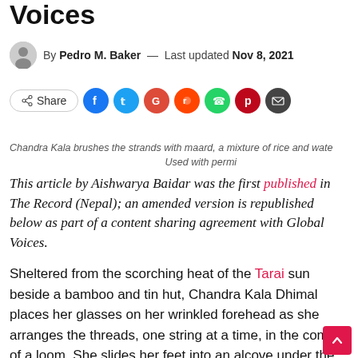Voices
By Pedro M. Baker — Last updated Nov 8, 2021
[Figure (infographic): Share row with Share button and social media icons: Facebook (blue), Twitter (light blue), Google (red), Reddit (orange-red), WhatsApp (green), Pinterest (dark red), Email (dark gray)]
Chandra Kala brushes the strands with maard, a mixture of rice and water. Used with permi...
This article by Aishwarya Baidar was the first published in The Record (Nepal); an amended version is republished below as part of a content sharing agreement with Global Voices.
Sheltered from the scorching heat of the Tarai sun beside a bamboo and tin hut, Chandra Kala Dhimal places her glasses on her wrinkled forehead as she arranges the threads, one string at a time, in the comb of a loom. She slides her feet into an alcove under the loom, pulling two bamboo stems with her toes. His hands move in unison, quickly weaving the threads together.